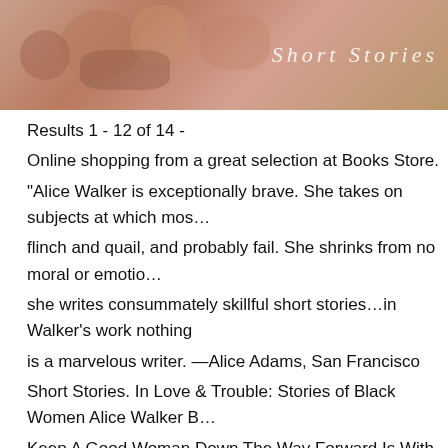[Figure (photo): Banner image showing hands or book cover with warm brown/peach tones, overlaid with italic serif text 'Short Stories']
Results 1 - 12 of 14 -
Online shopping from a great selection at Books Store.
“Alice Walker is exceptionally brave. She takes on subjects at which most flinch and quail, and probably fail. She shrinks from no moral or emotional... she writes consummately skillful short stories…in Walker’s work nothing is a marvelous writer. —Alice Adams, San Francisco
Short Stories. In Love & Trouble: Stories of Black Women Alice Walker B...
Keep A Good Woman Down The Way Forward Is With A Broken Heart. Es...
Search of Our Mothers’ Gardens, Womanist Prose Anything We Love Can...
the Word I Love Myself When I Am Laughing…
Weiter zu Novels and short story collections -
02.05.2014 -
Results 1 - 48 of 95 -
A collection of short stories that I first read for a Black Literature class w...